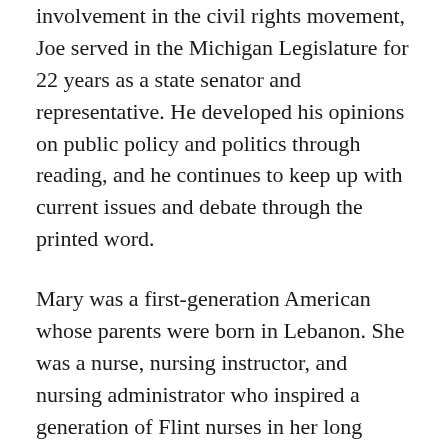involvement in the civil rights movement, Joe served in the Michigan Legislature for 22 years as a state senator and representative. He developed his opinions on public policy and politics through reading, and he continues to keep up with current issues and debate through the printed word.
Mary was a first-generation American whose parents were born in Lebanon. She was a nurse, nursing instructor, and nursing administrator who inspired a generation of Flint nurses in her long career at St. Joseph's Hospital, Mott Community College, and Genesee Memorial Hospital. Her love affair with reading also started at a young age, when she was a student at Dort Elementary School on Flint's north side. She still consumes one or more books each week, and she remains a frequent visitor at the Friends of the Flint Public Library Used Book sales.
The Conroy family demonstrates the compelling